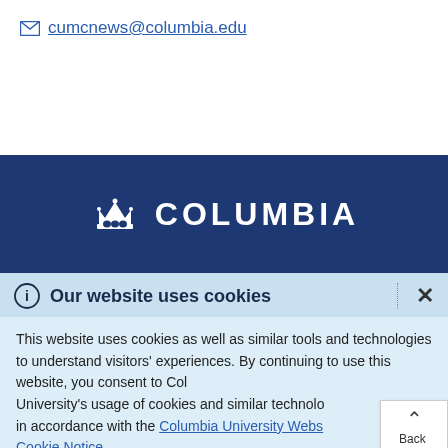✉ cumcnews@columbia.edu
[Figure (logo): Columbia University crown logo and COLUMBIA text in white on dark blue banner]
ⓘ Our website uses cookies
This website uses cookies as well as similar tools and technologies to understand visitors' experiences. By continuing to use this website, you consent to Columbia University's usage of cookies and similar technologies in accordance with the Columbia University Website Cookie Notice.